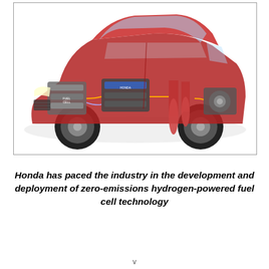[Figure (photo): Cutaway/transparent view of a red Honda fuel cell vehicle showing the internal components including the hydrogen fuel cell stack, electric motor, power control unit, and hydrogen storage tanks positioned throughout the chassis.]
Honda has paced the industry in the development and deployment of zero-emissions hydrogen-powered fuel cell technology
v